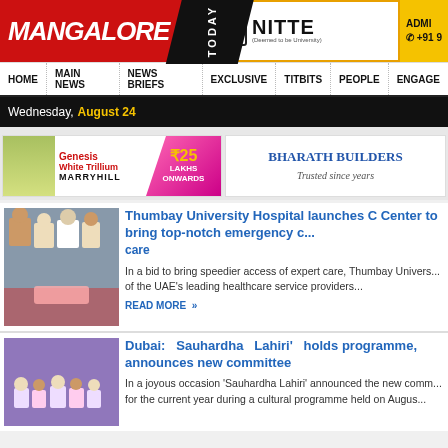[Figure (logo): Mangalore Today logo - red background with white bold text MANGALORE and black diagonal TODAY]
[Figure (logo): NITTE Deemed to be University logo with shield icon and ADMISSIONS phone number on yellow background]
HOME | MAIN NEWS | NEWS BRIEFS | EXCLUSIVE | TITBITS | PEOPLE | ENGAGE
Wednesday, August 24
[Figure (photo): Genesis White Trillium MARRYHILL advertisement - ₹25 LAKHS ONWARDS]
[Figure (photo): BHARATH BUILDERS Trusted since years advertisement]
[Figure (photo): Group photo of people at Thumbay University Hospital ribbon cutting ceremony]
Thumbay University Hospital launches C Center to bring top-notch emergency care
In a bid to bring speedier access of expert care, Thumbay University of the UAE's leading healthcare service providers...
READ MORE »
[Figure (photo): Dubai Sauhardha Lahiri cultural programme group photo]
Dubai: Sauhardha Lahiri' holds programme, announces new committee
In a joyous occasion 'Sauhardha Lahiri' announced the new committee for the current year during a cultural programme held on August...